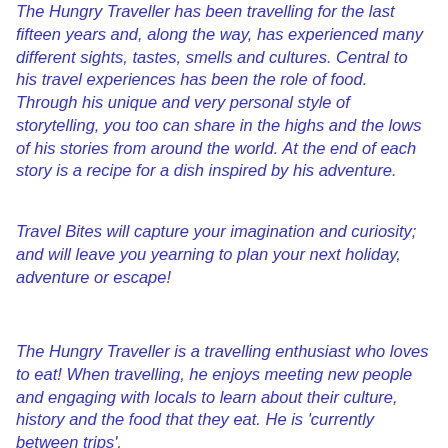The Hungry Traveller has been travelling for the last fifteen years and, along the way, has experienced many different sights, tastes, smells and cultures. Central to his travel experiences has been the role of food. Through his unique and very personal style of storytelling, you too can share in the highs and the lows of his stories from around the world. At the end of each story is a recipe for a dish inspired by his adventure.
Travel Bites will capture your imagination and curiosity; and will leave you yearning to plan your next holiday, adventure or escape!
The Hungry Traveller is a travelling enthusiast who loves to eat! When travelling, he enjoys meeting new people and engaging with locals to learn about their culture, history and the food that they eat. He is 'currently between trips',